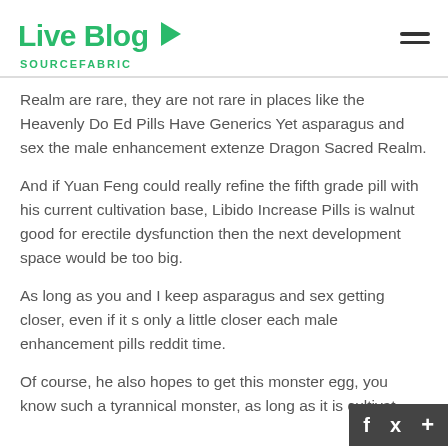Live Blog SOURCEFABRIC
Realm are rare, they are not rare in places like the Heavenly Do Ed Pills Have Generics Yet asparagus and sex the male enhancement extenze Dragon Sacred Realm.
And if Yuan Feng could really refine the fifth grade pill with his current cultivation base, Libido Increase Pills is walnut good for erectile dysfunction then the next development space would be too big.
As long as you and I keep asparagus and sex getting closer, even if it s only a little closer each male enhancement pills reddit time.
Of course, he also hopes to get this monster egg, you know such a tyrannical monster, as long as it is cultivat…